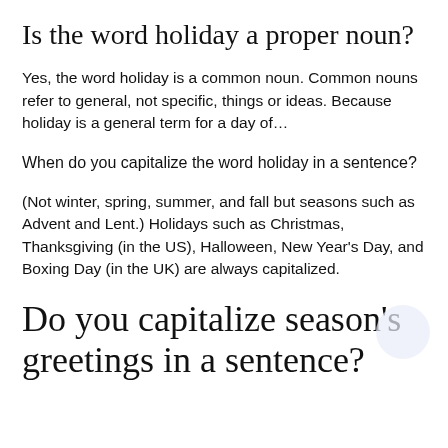Is the word holiday a proper noun?
Yes, the word holiday is a common noun. Common nouns refer to general, not specific, things or ideas. Because holiday is a general term for a day of…
When do you capitalize the word holiday in a sentence?
(Not winter, spring, summer, and fall but seasons such as Advent and Lent.) Holidays such as Christmas, Thanksgiving (in the US), Halloween, New Year's Day, and Boxing Day (in the UK) are always capitalized.
Do you capitalize season's greetings in a sentence?